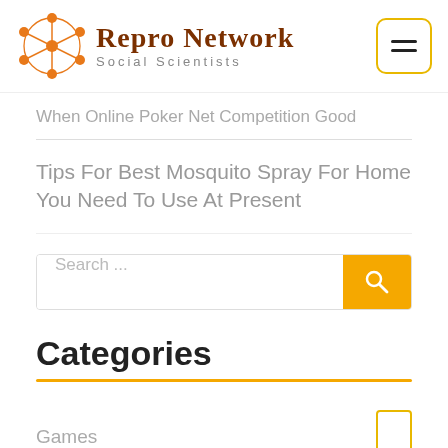[Figure (logo): Repro Network Social Scientists logo with orange network/flower icon on the left and text on the right, plus hamburger menu button with yellow border on far right]
When Online Poker Net Competition Good
Tips For Best Mosquito Spray For Home You Need To Use At Present
Search ...
Categories
Games